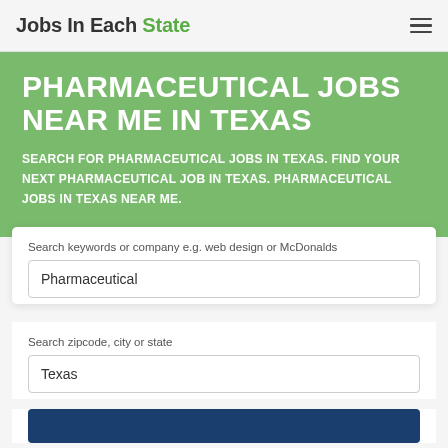Jobs In Each State
PHARMACEUTICAL JOBS NEAR ME IN TEXAS
SEARCH FOR PHARMACEUTICAL JOBS IN TEXAS. FIND YOUR NEXT PHARMACEUTICAL JOB IN TEXAS. PHARMACEUTICAL JOBS IN TEXAS NEAR ME.
Search keywords or company e.g. web design or McDonalds
Pharmaceutical
Search zipcode, city or state
Texas